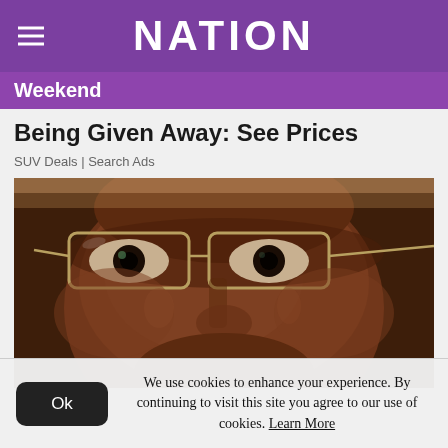NATION
Weekend
Being Given Away: See Prices
SUV Deals | Search Ads
[Figure (photo): Close-up photograph of an older Black man wearing thin-framed rectangular glasses, looking forward with a serious expression.]
We use cookies to enhance your experience. By continuing to visit this site you agree to our use of cookies. Learn More